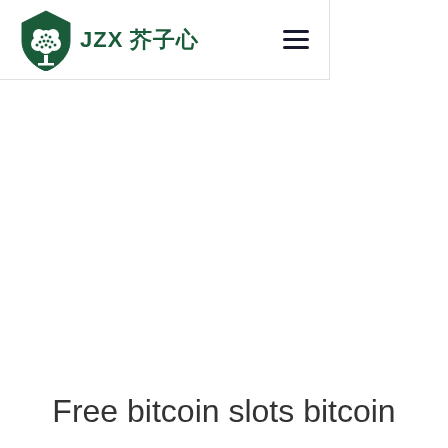JZX 芥子心
Free bitcoin slots bitcoin